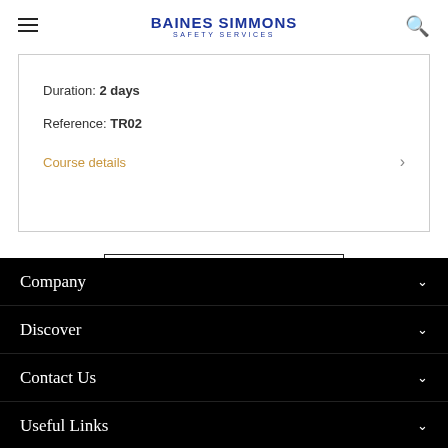BAINES SIMMONS SAFETY SERVICES
Duration: 2 days
Reference: TR02
Course details
SEE ALL COURSES
Company
Discover
Contact Us
Useful Links